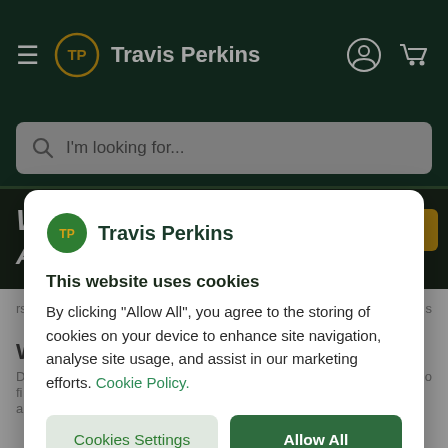[Figure (screenshot): Travis Perkins website header with dark green navigation bar showing hamburger menu, TP logo, brand name, user icon and cart icon]
[Figure (screenshot): Search bar with placeholder text 'I'm looking for...' on dark green background]
[Figure (screenshot): Website banner with text 'WANT BETTER PRICES' in white and gold italic text on dark background]
[Figure (screenshot): Cookie consent modal dialog overlaying the Travis Perkins website]
Travis Perkins
This website uses cookies
By clicking "Allow All", you agree to the storing of cookies on your device to enhance site navigation, analyse site usage, and assist in our marketing efforts. Cookie Policy.
Cookies Settings
Allow All